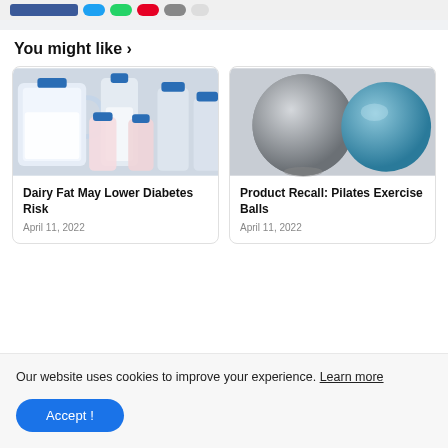[Figure (illustration): Social share buttons row: Facebook (blue), Twitter (light blue), WhatsApp (green), Pinterest (red), email (gray), more (light gray)]
You might like ›
[Figure (photo): Photo of dairy products: glass jug of milk, plastic bottles with blue caps and pink yogurt bottles]
Dairy Fat May Lower Diabetes Risk
April 11, 2022
[Figure (photo): Photo of two Pilates exercise balls: one gray/silver and one blue]
Product Recall: Pilates Exercise Balls
April 11, 2022
Our website uses cookies to improve your experience. Learn more
Accept !